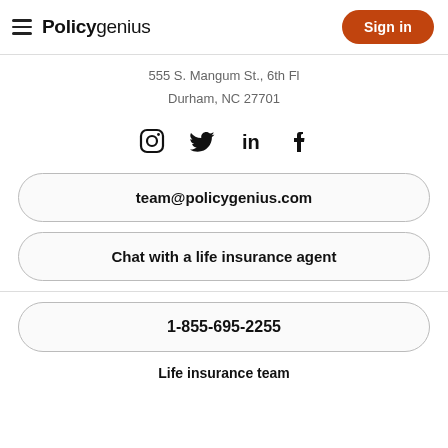Policygenius  Sign in
555 S. Mangum St., 6th Fl
Durham, NC 27701
[Figure (illustration): Social media icons: Instagram, Twitter, LinkedIn, Facebook]
team@policygenius.com
Chat with a life insurance agent
1-855-695-2255
Life insurance team